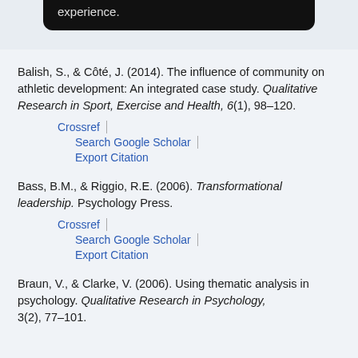experience.
Balish, S., & Côté, J. (2014). The influence of community on athletic development: An integrated case study. Qualitative Research in Sport, Exercise and Health, 6(1), 98–120. Crossref | Search Google Scholar | Export Citation
Bass, B.M., & Riggio, R.E. (2006). Transformational leadership. Psychology Press. Crossref | Search Google Scholar | Export Citation
Braun, V., & Clarke, V. (2006). Using thematic analysis in psychology. Qualitative Research in Psychology, 3(2), 77–101.